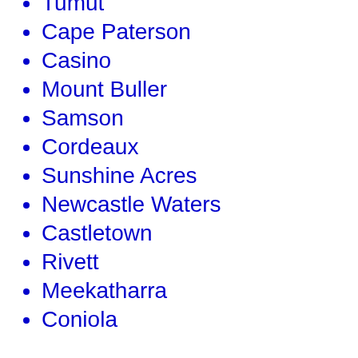Tumut
Cape Paterson
Casino
Mount Buller
Samson
Cordeaux
Sunshine Acres
Newcastle Waters
Castletown
Rivett
Meekatharra
Coniola